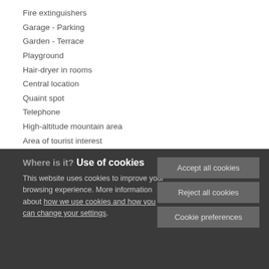Fire extinguishers
Garage - Parking
Garden - Terrace
Playground
Hair-dryer in rooms
Central location
Quaint spot
Telephone
High-altitude mountain area
Area of tourist interest
Where is it?
Use of cookies
This website uses cookies to improve your browsing experience. More information about how we use cookies and how you can change your settings.